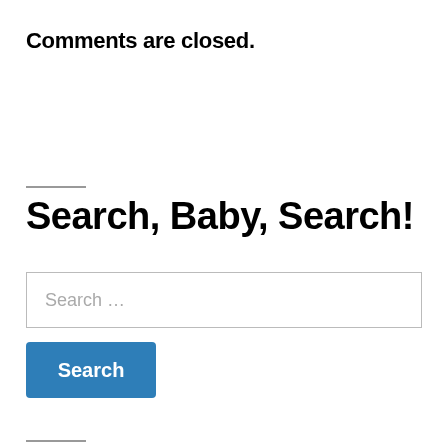Comments are closed.
Search, Baby, Search!
Search …
Search